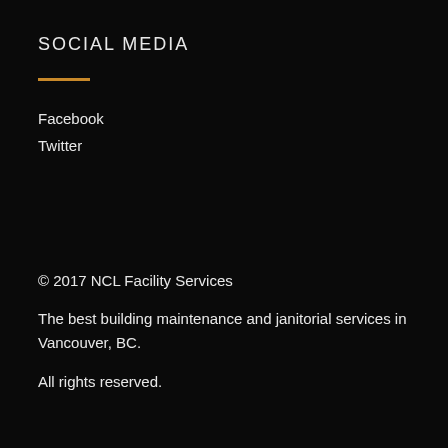SOCIAL MEDIA
Facebook
Twitter
© 2017 NCL Facility Services
The best building maintenance and janitorial services in Vancouver, BC.
All rights reserved.